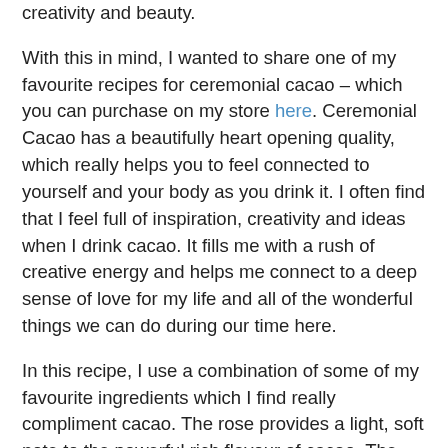creativity and beauty.
With this in mind, I wanted to share one of my favourite recipes for ceremonial cacao – which you can purchase on my store here. Ceremonial Cacao has a beautifully heart opening quality, which really helps you to feel connected to yourself and your body as you drink it. I often find that I feel full of inspiration, creativity and ideas when I drink cacao. It fills me with a rush of creative energy and helps me connect to a deep sense of love for my life and all of the wonderful things we can do during our time here.
In this recipe, I use a combination of some of my favourite ingredients which I find really compliment cacao. The rose provides a light, soft note to the powerful rich flavour of cacao. The orange adds a warming, fruity element (and I personally love orange chocolate, so orange is a must for me!). The cinnamon and vanilla add a subtle, natural sweetness which also uplifts the depth of the rich cacao